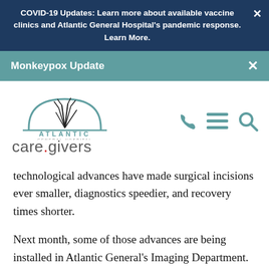COVID-19 Updates: Learn more about available vaccine clinics and Atlantic General Hospital's pandemic response. Learn More.
Monkeypox Update
[Figure (logo): Atlantic General Hospital logo with care.givers tagline]
technological advances have made surgical incisions ever smaller, diagnostics speedier, and recovery times shorter.
Next month, some of those advances are being installed in Atlantic General's Imaging Department.